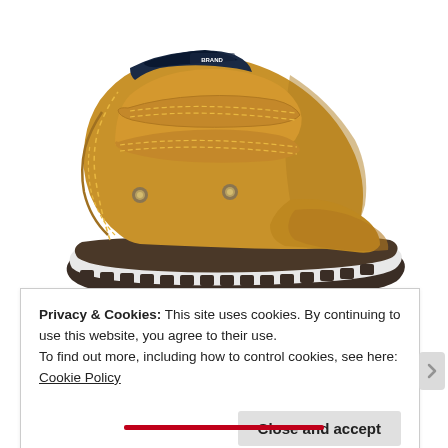[Figure (photo): A tan/caramel colored children's ankle boot with double velcro straps, dark navy collar and accents, metal studs, visible stitching, and a dark rubber sole with white midsole. Photographed on a white background.]
Privacy & Cookies: This site uses cookies. By continuing to use this website, you agree to their use.
To find out more, including how to control cookies, see here: Cookie Policy
Close and accept